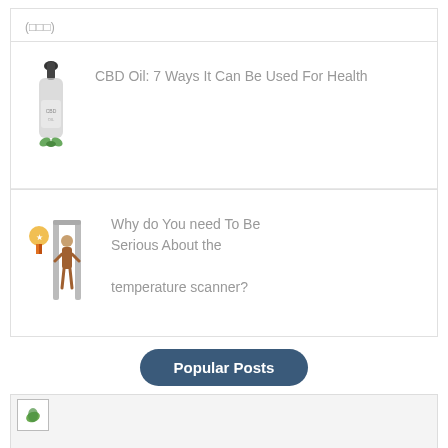(□□□)
[Figure (illustration): CBD oil dropper bottle illustration]
CBD Oil: 7 Ways It Can Be Used For Health
[Figure (illustration): Temperature scanner / walk-through metal detector with person illustration and award badge]
Why do You need To Be Serious About the temperature scanner?
Popular Posts
[Figure (illustration): Placeholder image with small leaf/green icon in top left corner, grey background]